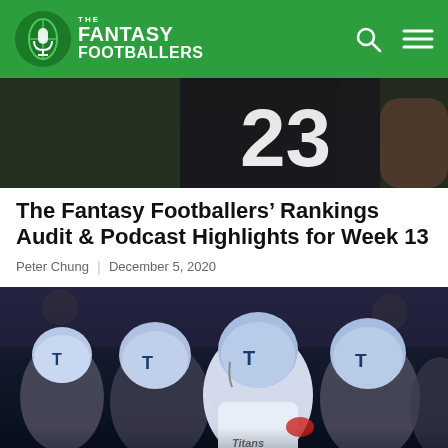The Fantasy Footballers
[Figure (photo): Football player wearing jersey number 23 in a dark uniform, partial torso view showing tattoos on arm]
The Fantasy Footballers' Rankings Audit & Podcast Highlights for Week 13
Peter Chung | December 5, 2020
[Figure (photo): Tennessee Titans players in white helmets and uniforms huddled together on the field]